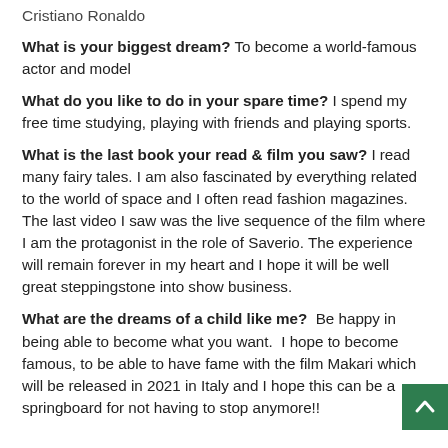Cristiano Ronaldo
What is your biggest dream? To become a world-famous actor and model
What do you like to do in your spare time? I spend my free time studying, playing with friends and playing sports.
What is the last book your read & film you saw? I read many fairy tales. I am also fascinated by everything related to the world of space and I often read fashion magazines. The last video I saw was the live sequence of the film where I am the protagonist in the role of Saverio. The experience will remain forever in my heart and I hope it will be well great steppingstone into show business.
What are the dreams of a child like me? Be happy in being able to become what you want. I hope to become famous, to be able to have fame with the film Makari which will be released in 2021 in Italy and I hope this can be a springboard for not having to stop anymore!!